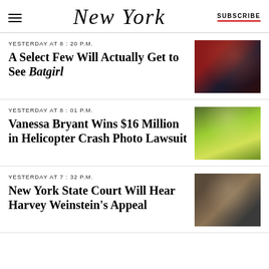NEW YORK | SUBSCRIBE
YESTERDAY AT 8:20 P.M.
A Select Few Will Actually Get to See Batgirl
[Figure (photo): Dark reddish portrait photo of a woman with long dark hair]
YESTERDAY AT 8:01 P.M.
Vanessa Bryant Wins $16 Million in Helicopter Crash Photo Lawsuit
[Figure (photo): Woman in neon yellow-green turtleneck top with long dark hair]
YESTERDAY AT 7:32 P.M.
New York State Court Will Hear Harvey Weinstein's Appeal
[Figure (photo): Man wearing blue face mask seated at table]